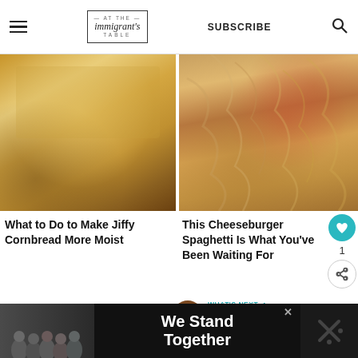At The Immigrant's Table — SUBSCRIBE
[Figure (photo): Close-up photo of a square piece of golden jiffy cornbread on a dark surface]
[Figure (photo): Close-up photo of cheeseburger spaghetti with tomatoes and meat sauce]
What to Do to Make Jiffy Cornbread More Moist
This Cheeseburger Spaghetti Is What You've Been Waiting For
WHAT'S NEXT → Gluten-free walnut and...
« {TRAVEL} My guide to the
[Figure (photo): Ad banner: We Stand Together — people with arms around each other]